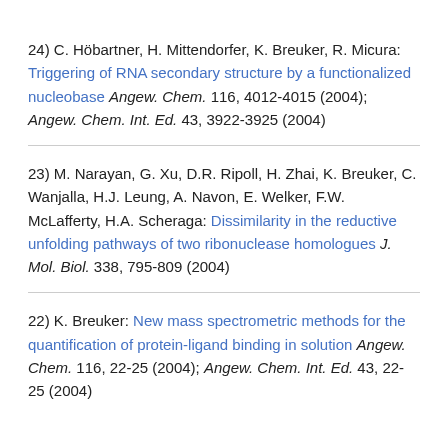24) C. Höbartner, H. Mittendorfer, K. Breuker, R. Micura: Triggering of RNA secondary structure by a functionalized nucleobase Angew. Chem. 116, 4012-4015 (2004); Angew. Chem. Int. Ed. 43, 3922-3925 (2004)
23) M. Narayan, G. Xu, D.R. Ripoll, H. Zhai, K. Breuker, C. Wanjalla, H.J. Leung, A. Navon, E. Welker, F.W. McLafferty, H.A. Scheraga: Dissimilarity in the reductive unfolding pathways of two ribonuclease homologues J. Mol. Biol. 338, 795-809 (2004)
22) K. Breuker: New mass spectrometric methods for the quantification of protein-ligand binding in solution Angew. Chem. 116, 22-25 (2004); Angew. Chem. Int. Ed. 43, 22-25 (2004)